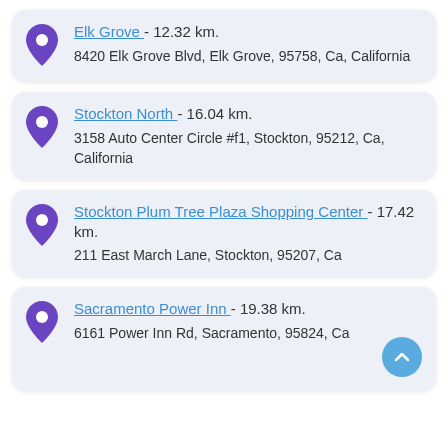Elk Grove - 12.32 km. 8420 Elk Grove Blvd, Elk Grove, 95758, Ca, California
Stockton North - 16.04 km. 3158 Auto Center Circle #f1, Stockton, 95212, Ca, California
Stockton Plum Tree Plaza Shopping Center - 17.42 km. 211 East March Lane, Stockton, 95207, Ca
Sacramento Power Inn - 19.38 km. 6161 Power Inn Rd, Sacramento, 95824, Ca